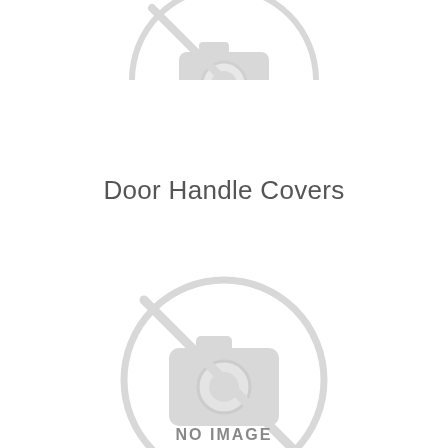[Figure (illustration): Partial 'no image' placeholder circle icon cropped at top of page, showing the upper arc of a circle with a camera-slash icon inside, light gray color]
Door Handle Covers
[Figure (illustration): Full 'no image' placeholder circle icon in light gray, containing a camera icon with a diagonal slash through it, and text 'NO IMAGE' in the center]